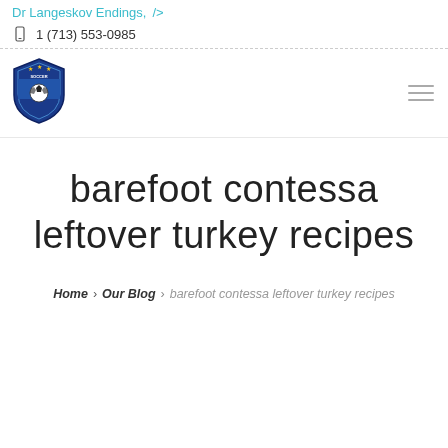Dr Langeskov Endings, />
1 (713) 553-0985
[Figure (logo): Soccer club shield logo with blue and black colors, soccer ball, stars on top]
barefoot contessa leftover turkey recipes
Home › Our Blog › barefoot contessa leftover turkey recipes